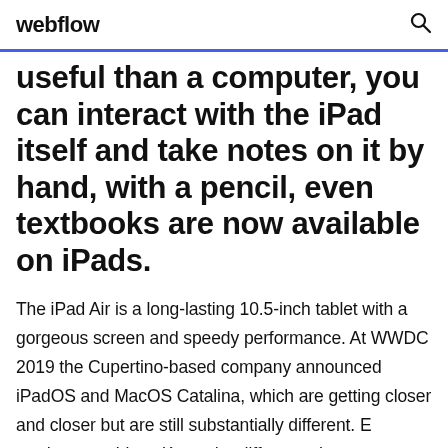webflow
useful than a computer, you can interact with the iPad itself and take notes on it by hand, with a pencil, even textbooks are now available on iPads.
The iPad Air is a long-lasting 10.5-inch tablet with a gorgeous screen and speedy performance. At WWDC 2019 the Cupertino-based company announced iPadOS and MacOS Catalina, which are getting closer and closer but are still substantially different. E readers vs tablets, Know the difference between Kindle and a Tablet before you buy with this detailed comparison between Kindle e readers and